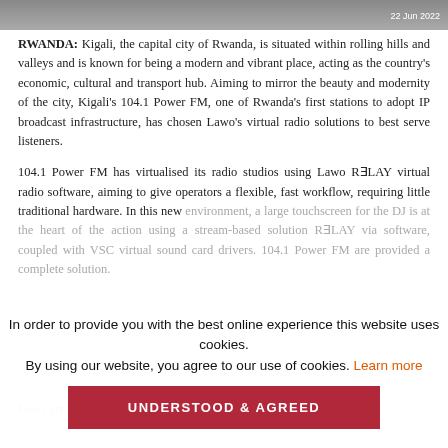[Figure (photo): Top portion of a photo showing people, partially visible. Date '22 Jun 2022' shown in top right corner.]
RWANDA: Kigali, the capital city of Rwanda, is situated within rolling hills and valleys and is known for being a modern and vibrant place, acting as the country's economic, cultural and transport hub. Aiming to mirror the beauty and modernity of the city, Kigali's 104.1 Power FM, one of Rwanda's first stations to adopt IP broadcast infrastructure, has chosen Lawo's virtual radio solutions to best serve listeners.
104.1 Power FM has virtualised its radio studios using Lawo RƎLAY virtual radio software, aiming to give operators a flexible, fast workflow, requiring little traditional hardware. In this new environment, a large touchscreen for the DJ is at the heart of the action using a stream-based solution RƎLAY via software, coupled with VSC virtual sound card drivers. 104.1 Power FM are provided a complete solution.
In order to provide you with the best online experience this website uses cookies.
By using our website, you agree to our use of cookies. Learn more
UNDERSTOOD & AGREED
Users are able to ... using only a smartphone. Ken Kavima,